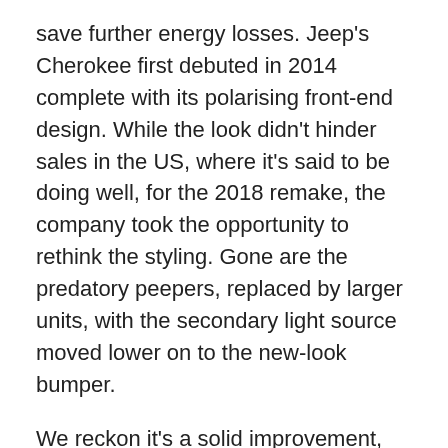save further energy losses. Jeep's Cherokee first debuted in 2014 complete with its polarising front-end design. While the look didn't hinder sales in the US, where it's said to be doing well, for the 2018 remake, the company took the opportunity to rethink the styling. Gone are the predatory peepers, replaced by larger units, with the secondary light source moved lower on to the new-look bumper.
We reckon it's a solid improvement, especially for the Limited model. The local line-up now comprises just two models, the $60k Limited and the $65k Trailhawk. The 2.4-litre Tigershark (the toothless tiger) has been kicked into touch and the remaining models are powered by the 3.2-litre V6 with 200kW, and 315Nm of torque at 4300rpm. They have a nine-speed auto, and the AWD system has a similar rear axle disconnect from